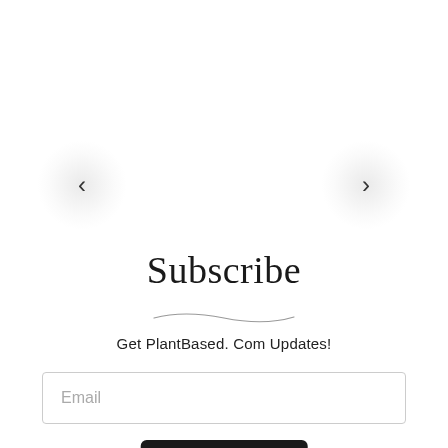[Figure (other): Navigation carousel left arrow button with radial shadow/glow effect]
[Figure (other): Navigation carousel right arrow button with radial shadow/glow effect]
Subscribe
[Figure (illustration): Decorative curved underline/swash beneath the Subscribe title]
Get PlantBased. Com Updates!
Email
Sign Up